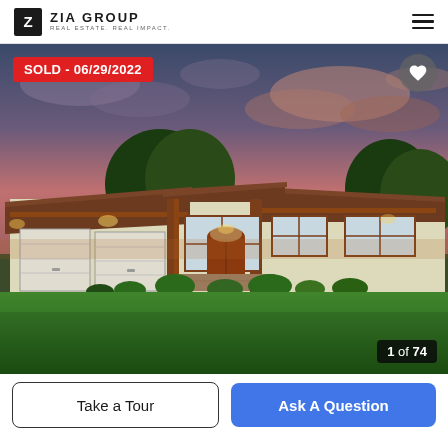ZIA GROUP REAL ESTATE. REAL IMPACT.
[Figure (photo): Exterior photo of a single-story ranch-style house with a large green lawn, two-car garage, brown trim and tile roof, photographed at dusk with a dramatic pink and blue sky. Text overlay: 'SOLD - 06/29/2022'. Image counter shows '1 of 74'.]
Take a Tour
Ask A Question